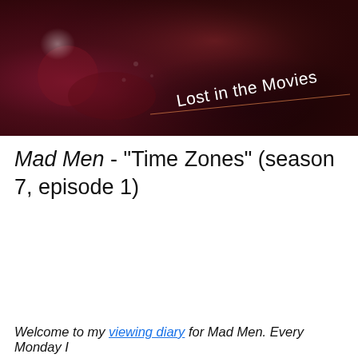[Figure (photo): Dark red/maroon banner image with 'Lost in the Movies' text overlaid diagonally, with a decorative line beneath the text]
Mad Men - "Time Zones" (season 7, episode 1)
Welcome to my viewing diary for Mad Men. Every Monday I